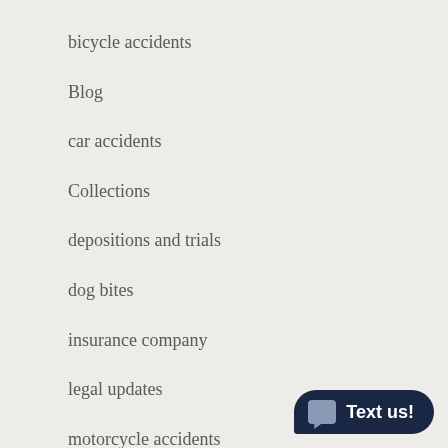bicycle accidents
Blog
car accidents
Collections
depositions and trials
dog bites
insurance company
legal updates
motorcycle accidents
News
personal Injury
[Figure (other): Dark navy pill-shaped chat button with speech bubble icon and text 'Text us!']